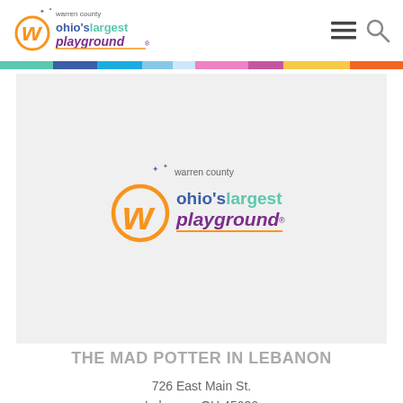[Figure (logo): Warren County Ohio's Largest Playground logo in header]
[Figure (logo): Warren County Ohio's Largest Playground logo centered in gray content area]
THE MAD POTTER IN LEBANON
726 East Main St.
Lebanon, OH 45036